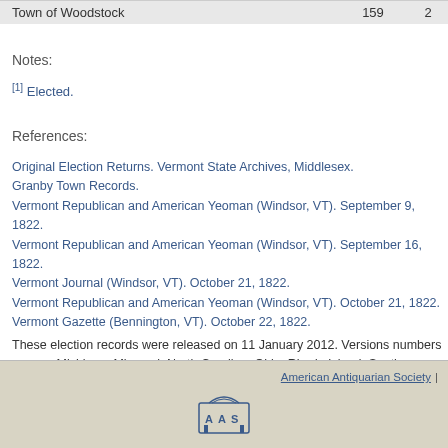|  |  |  |
| --- | --- | --- |
| Town of Woodstock | 159 | 2 |
Notes:
[1] Elected.
References:
Original Election Returns. Vermont State Archives, Middlesex.
Granby Town Records.
Vermont Republican and American Yeoman (Windsor, VT). September 9, 1822.
Vermont Republican and American Yeoman (Windsor, VT). September 16, 1822.
Vermont Journal (Windsor, VT). October 21, 1822.
Vermont Republican and American Yeoman (Windsor, VT). October 21, 1822.
Vermont Gazette (Bennington, VT). October 22, 1822.
These election records were released on 11 January 2012. Versions numbers are ass Michigan, Missouri, North Carolina, Ohio, Rhode Island, South Carolina, Tennessee a page.
American Antiquarian Society |